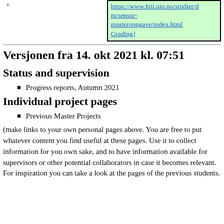[Figure (other): Green highlighted box with a URL link and 'Grading' text, prefixed with a plus sign bullet]
Versjonen fra 14. okt 2021 kl. 07:51
Status and supervision
Progress reports, Autumn 2021
Individual project pages
Previous Master Projects
(make links to your own personal pages above. You are free to put whatever content you find useful at these pages. Use it to collect information for you own sake, and to have information available for supervisors or other potential collaborators in case it becomes relevant. For inspiration you can take a look at the pages of the previous students.